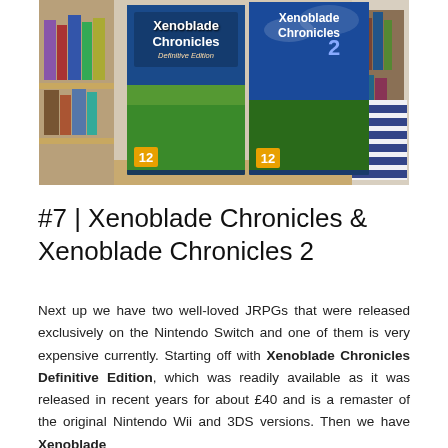[Figure (photo): Photo of two Nintendo Switch game cases side by side on a shelf: Xenoblade Chronicles Definitive Edition (left) and Xenoblade Chronicles 2 (right), both rated 12, placed in front of a bookshelf with books and a striped pillow visible in the background.]
#7 | Xenoblade Chronicles & Xenoblade Chronicles 2
Next up we have two well-loved JRPGs that were released exclusively on the Nintendo Switch and one of them is very expensive currently. Starting off with Xenoblade Chronicles Definitive Edition, which was readily available as it was released in recent years for about £40 and is a remaster of the original Nintendo Wii and 3DS versions. Then we have Xenoblade